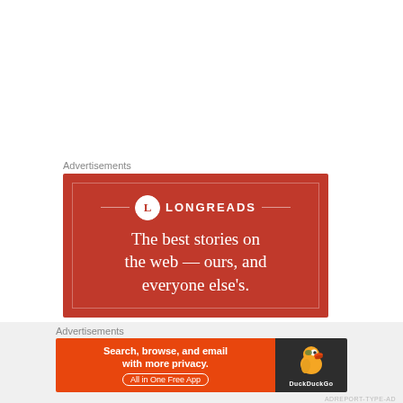Advertisements
[Figure (illustration): Longreads advertisement banner on red background. Circle logo with letter L, text 'LONGREADS'. Tagline: 'The best stories on the web — ours, and everyone else's.']
Advertisements
[Figure (illustration): DuckDuckGo advertisement banner. Left orange section: 'Search, browse, and email with more privacy. All in One Free App'. Right dark section with DuckDuckGo duck logo and name.]